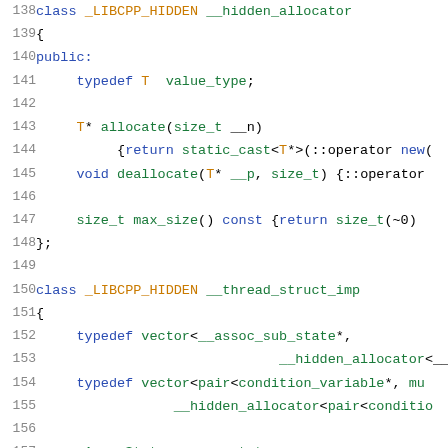Code listing lines 138–158 showing C++ class definitions for __hidden_allocator and __thread_struct_imp